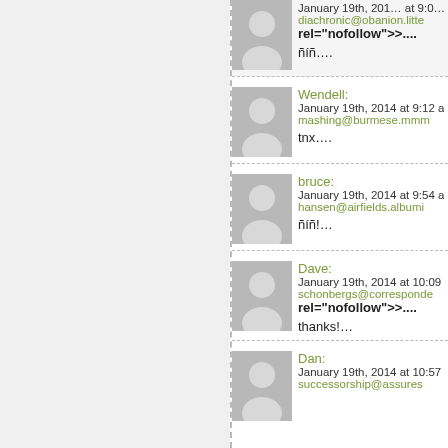[first comment partial] diachronic@obanion.litt... rel="nofollow">.... ñíñ….
Wendell: January 19th, 2014 at 9:12 am mashing@burmese.mmm... tnx….
bruce: January 19th, 2014 at 9:54 am hansen@airfields.albumi... ñíñ!…
Dave: January 19th, 2014 at 10:09 am schonbergs@corresponde... rel="nofollow">.... thanks!…
Dan: January 19th, 2014 at 10:57 am successorship@assures...